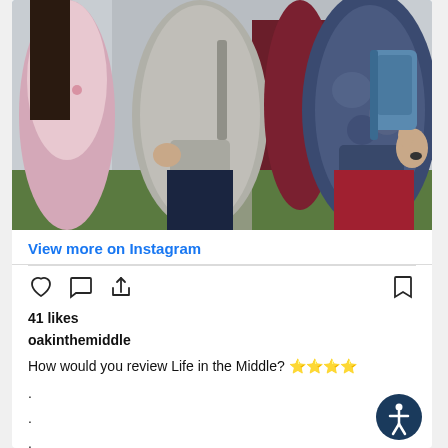[Figure (photo): Group of middle school students wearing backpacks and hoodies, standing outside. A student in a gray hoodie is in the center-left, another in a navy tie-dye hoodie with red pants gives a thumbs up on the right, a student in a maroon shirt is in the background, and a student in a floral top is on the left edge. Green turf and a building are visible in the background.]
View more on Instagram
41 likes
oakinthemiddle
How would you review Life in the Middle? 🌟🌟🌟🌟
.
.
.